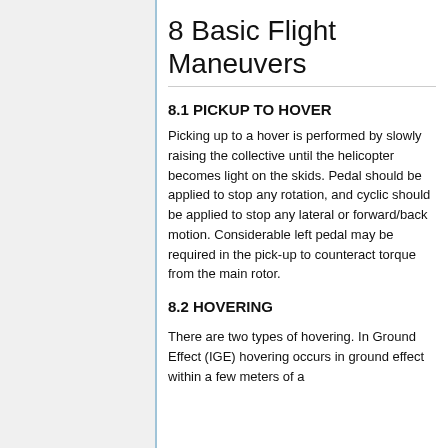8 Basic Flight Maneuvers
8.1 PICKUP TO HOVER
Picking up to a hover is performed by slowly raising the collective until the helicopter becomes light on the skids. Pedal should be applied to stop any rotation, and cyclic should be applied to stop any lateral or forward/back motion. Considerable left pedal may be required in the pick-up to counteract torque from the main rotor.
8.2 HOVERING
There are two types of hovering. In Ground Effect (IGE) hovering occurs in ground effect within a few meters of a